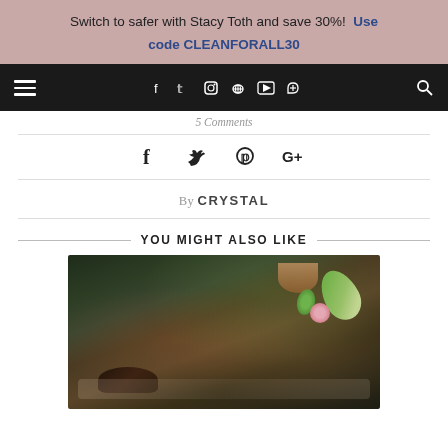Switch to safer with Stacy Toth and save 30%! Use code CLEANFORALL30
[Figure (screenshot): Website navigation bar with hamburger menu on left, social media icons (Facebook, Twitter, Instagram, Pinterest, YouTube, RSS) in center, and search icon on right, on black background]
5 Comments
[Figure (infographic): Social share icons row: Facebook, Twitter, Pinterest, Google+]
By CRYSTAL
YOU MIGHT ALSO LIKE
[Figure (photo): Dark food photography of tacos or Mexican dish with avocado slices, pink radish, green herb (cilantro), and a clay bowl, on a dark background]